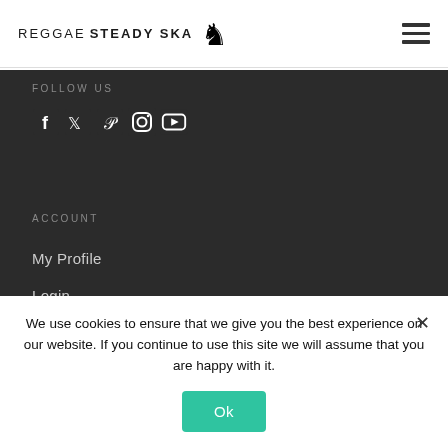REGGAE STEADY SKA [logo]
FOLLOW US
[Figure (illustration): Social media icons: Facebook, Twitter, Pinterest, Instagram, YouTube]
ACCOUNT
My Profile
Login
Register
We use cookies to ensure that we give you the best experience on our website. If you continue to use this site we will assume that you are happy with it.
Ok